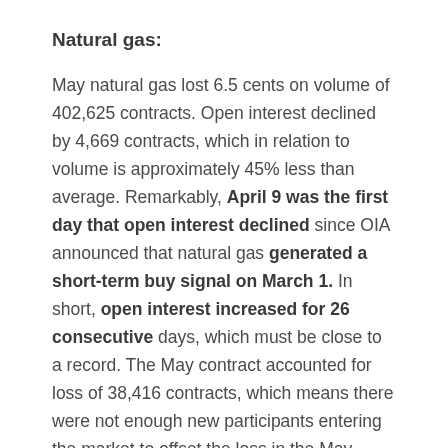Natural gas:
May natural gas lost 6.5 cents on volume of 402,625 contracts. Open interest declined by 4,669 contracts, which in relation to volume is approximately 45% less than average. Remarkably, April 9 was the first day that open interest declined since OIA announced that natural gas generated a short-term buy signal on March 1. In short, open interest increased for 26 consecutive days, which must be close to a record. The May contract accounted for loss of 38,416 contracts, which means there were not enough new participants entering the market to offset the loss in the May contract.
For the past 16 trading sessions beginning on